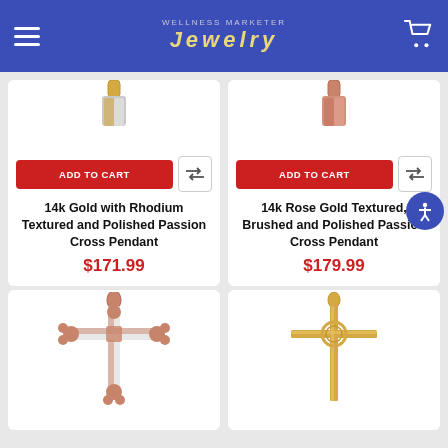WELLNESS MARKETER Jewelry
[Figure (photo): 14k Gold with Rhodium Textured and Polished Passion Cross Pendant - partial top view]
[Figure (photo): 14k Rose Gold Textured, Brushed and Polished Passion Cross Pendant - partial top view]
ADD TO CART
ADD TO CART
14k Gold with Rhodium Textured and Polished Passion Cross Pendant
$171.99
14k Rose Gold Textured, Brushed and Polished Passion Cross Pendant
$179.99
[Figure (photo): Rose gold and white cross pendant with decorative fleur-de-lis ends]
[Figure (photo): Yellow gold cross pendant with rope detail center]